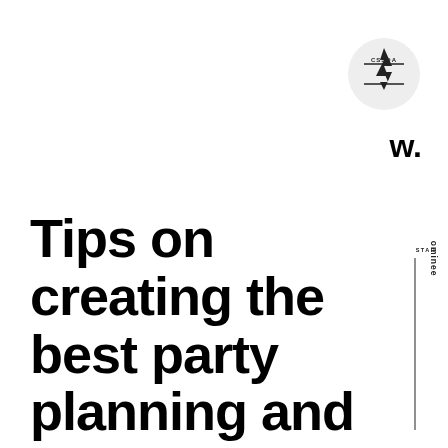[Figure (logo): CSSDA badge - circular light gray badge with lightning bolt graphic and text CSSDA]
w.
Tips on creating the best party planning and supply logo
[Figure (logo): CSS Winner Star Nominee vertical text badge on right side]